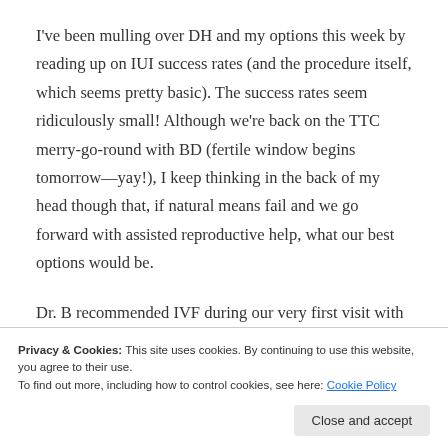I've been mulling over DH and my options this week by reading up on IUI success rates (and the procedure itself, which seems pretty basic). The success rates seem ridiculously small! Although we're back on the TTC merry-go-round with BD (fertile window begins tomorrow—yay!), I keep thinking in the back of my head though that, if natural means fail and we go forward with assisted reproductive help, what our best options would be.
Dr. B recommended IVF during our very first visit with him. He flat out said that IUI wouldn't likely work, but if DH and I
Privacy & Cookies: This site uses cookies. By continuing to use this website, you agree to their use.
To find out more, including how to control cookies, see here: Cookie Policy